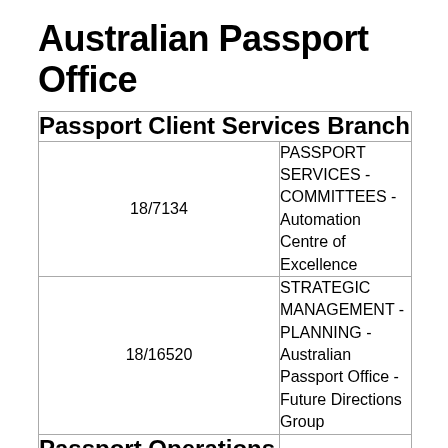Australian Passport Office
|  |  |
| --- | --- |
| Passport Client Services Branch |  |
| 18/7134 | PASSPORT SERVICES - COMMITTEES - Automation Centre of Excellence |
| 18/16520 | STRATEGIC MANAGEMENT - PLANNING - Australian Passport Office - Future Directions Group |
| Passport Operations and Training Section | Back to top |